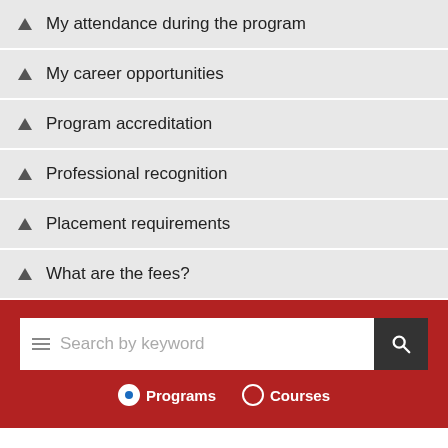My attendance during the program
My career opportunities
Program accreditation
Professional recognition
Placement requirements
What are the fees?
[Figure (screenshot): Search bar with keyword input and Programs/Courses radio buttons on a red background]
[Figure (screenshot): Footer with social media icons: Facebook, Twitter, YouTube, Instagram, LinkedIn]